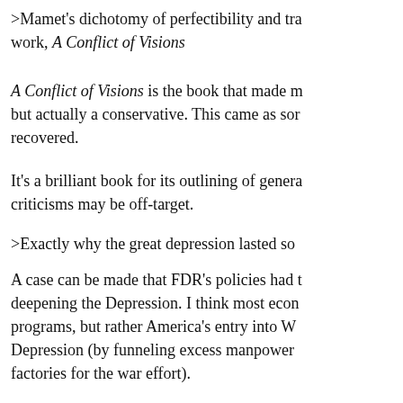>Mamet's dichotomy of perfectibility and tra work, A Conflict of Visions
A Conflict of Visions is the book that made m but actually a conservative. This came as sor recovered.
It's a brilliant book for its outlining of genera criticisms may be off-target.
>Exactly why the great depression lasted so
A case can be made that FDR's policies had t deepening the Depression. I think most econ programs, but rather America's entry into W Depression (by funneling excess manpower factories for the war effort).
This is not to say that another president woul fiscal policy were very poorly understood in
>As the Buddha pointed out one must find a societies and governments must find a midd
I think this is true, and the middle path seem government oversight, with a decent social